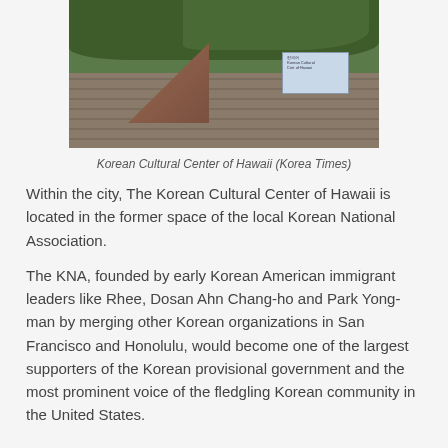[Figure (photo): Photograph of the Korean Cultural Center of Hawaii exterior, showing stone walls, brick stairs leading up through foliage, and a sign on the wall reading Korean Cultural Center of Hawaii.]
Korean Cultural Center of Hawaii (Korea Times)
Within the city, The Korean Cultural Center of Hawaii is located in the former space of the local Korean National Association.
The KNA, founded by early Korean American immigrant leaders like Rhee, Dosan Ahn Chang-ho and Park Yong-man by merging other Korean organizations in San Francisco and Honolulu, would become one of the largest supporters of the Korean provisional government and the most prominent voice of the fledgling Korean community in the United States.